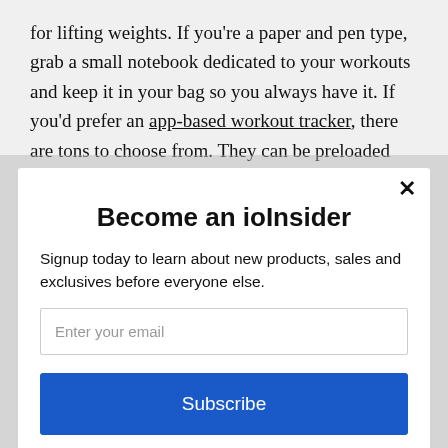for lifting weights. If you're a paper and pen type, grab a small notebook dedicated to your workouts and keep it in your bag so you always have it. If you'd prefer an app-based workout tracker, there are tons to choose from. They can be preloaded with workout
Become an ioInsider
Signup today to learn about new products, sales and exclusives before everyone else.
Enter your email
Subscribe
powered by MailMunch